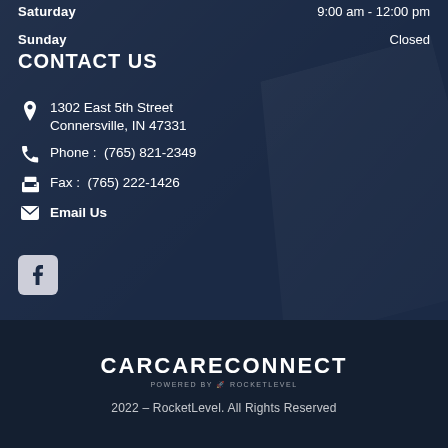Saturday   9:00 am - 12:00 pm
Sunday   Closed
CONTACT US
1302 East 5th Street
Connersville, IN 47331
Phone : (765) 821-2349
Fax : (765) 222-1426
Email Us
[Figure (logo): Facebook social media icon button]
[Figure (logo): CARCARECONNECT logo with powered by RocketLevel tagline]
2022 – RocketLevel. All Rights Reserved